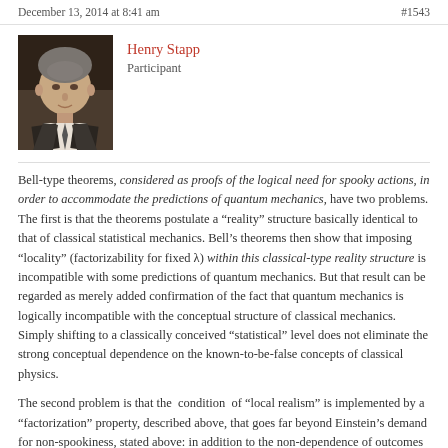December 13, 2014 at 8:41 am    #1543
[Figure (photo): Portrait photo of Henry Stapp, an older man in a suit]
Henry Stapp
Participant
Bell-type theorems, considered as proofs of the logical need for spooky actions, in order to accommodate the predictions of quantum mechanics, have two problems. The first is that the theorems postulate a “reality” structure basically identical to that of classical statistical mechanics. Bell’s theorems then show that imposing “locality” (factorizability for fixed λ) within this classical-type reality structure is incompatible with some predictions of quantum mechanics. But that result can be regarded as merely added confirmation of the fact that quantum mechanics is logically incompatible with the conceptual structure of classical mechanics. Simply shifting to a classically conceived “statistical” level does not eliminate the strong conceptual dependence on the known-to-be-false concepts of classical physics.
The second problem is that the condition of “local realism” is implemented by a “factorization” property, described above, that goes far beyond Einstein’s demand for non-spookiness, stated above: in addition to the non-dependence of outcomes in a region upon “what is done” in the faraway region the local realism conditions entails also what Shimony calls “outcome